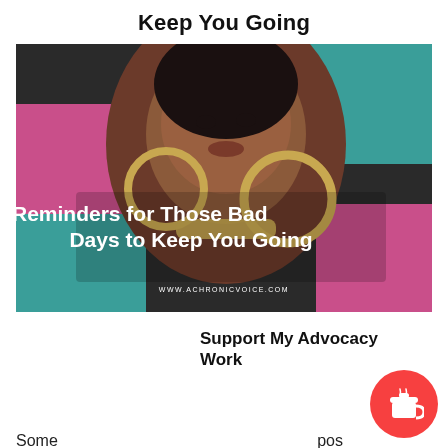Keep You Going
[Figure (photo): A woman with large gold hoop earrings and a gold choker necklace against a colorful background. Text overlay reads '7 Reminders for Those Bad Days to Keep You Going' with website www.achronicvoice.com]
Support My Advocacy Work
Some pos "Why il?" not here to dispense advice, because god knows